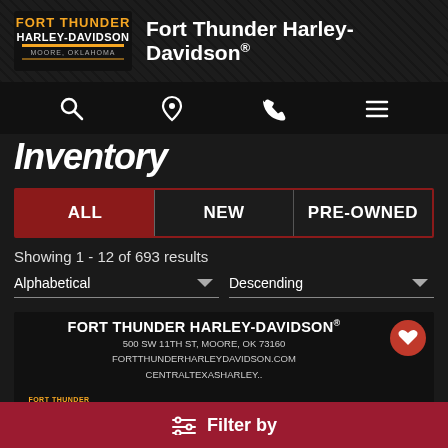[Figure (logo): Fort Thunder Harley-Davidson logo with orange/yellow text on dark background, Moore Oklahoma]
Fort Thunder Harley-Davidson®
[Figure (infographic): Navigation icon bar with search, location pin, phone, and hamburger menu icons]
Inventory
ALL
NEW
PRE-OWNED
Showing 1 - 12 of 693 results
Alphabetical
Descending
[Figure (infographic): Fort Thunder Harley-Davidson dealer card showing address: 500 SW 11TH ST, MOORE, OK 73160, FORTTHUNDERHARLEYDAVIDSON.COM, CENTRALTEXASHARLEY.. with logo and HD bar shield logo, and a red heart/favorite button]
Filter by